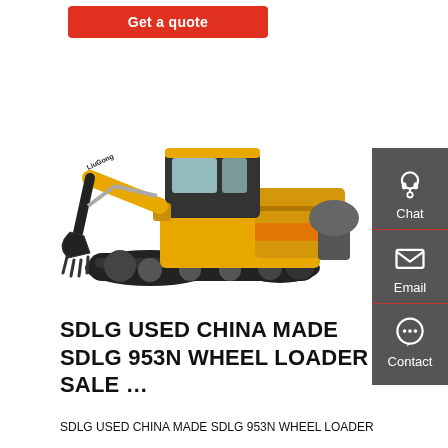Get a quote
[Figure (photo): Yellow LiuGong crawler excavator on white background, side view showing full machine with boom, arm, bucket, cab, and undercarriage tracks]
SDLG USED CHINA MADE SDLG 953N WHEEL LOADER SALE …
SDLG USED CHINA MADE SDLG 953N WHEEL LOADER